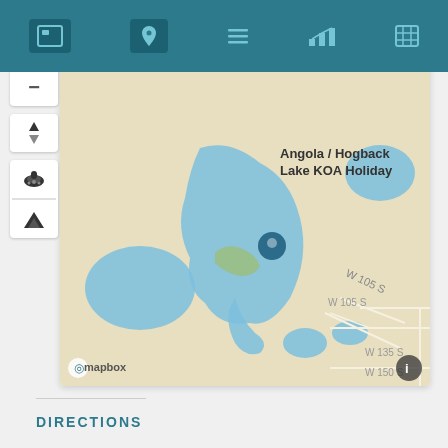[Figure (map): Interactive Mapbox map showing Angola / Hogback Lake KOA Holiday campground area with lakes, roads labeled W 105 S, W 135 S, W 150 S, a blue location pin on the lake, map controls (zoom, compass, car icon, terrain icon), and Mapbox attribution at bottom left.]
DIRECTIONS
69 to 120 to 755...home is on the left.